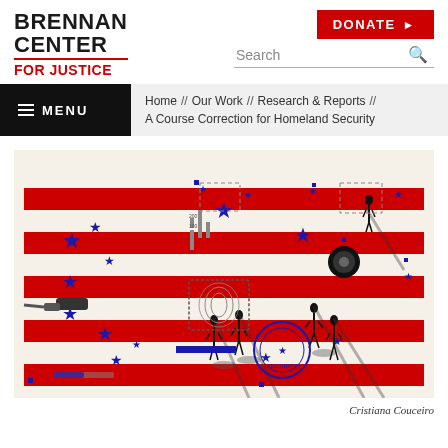[Figure (logo): Brennan Center for Justice logo — black bold text BRENNAN CENTER with red FOR JUSTICE below a red rule]
[Figure (other): Red DONATE button with right-pointing triangle, and a search bar below]
MENU
Home // Our Work // Research & Reports // A Course Correction for Homeland Security
[Figure (illustration): Artistic illustration of an American flag reimagined as a surveillance/homeland security scene — red and white stripes, blue stars, silhouetted figures, surveillance cameras, fingerprint, circular security seal, all rendered in red, black, blue on cream/beige background]
Cristiana Couceiro